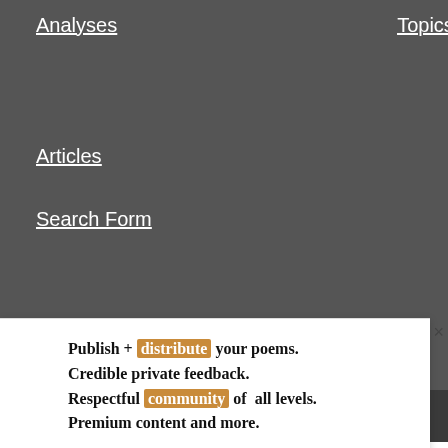Analyses
Topics
Articles
Search Form
© 2017 KeyToPoetry.com. Copyright Notice | Terms | Contact us
Publish + distribute your poems. Credible private feedback. Respectful community of all levels. Premium content and more.
Become a Member